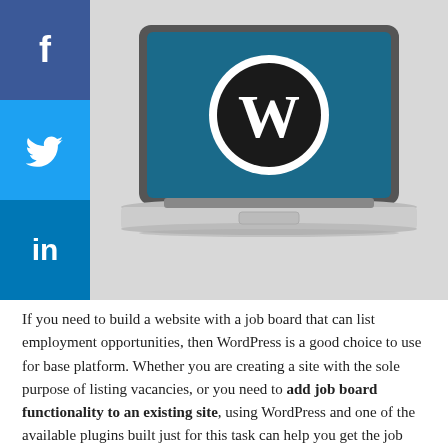[Figure (illustration): Laptop computer with WordPress logo (W in circle) displayed on screen against a teal/blue background, set on a light gray hero banner background.]
If you need to build a website with a job board that can list employment opportunities, then WordPress is a good choice to use for base platform. Whether you are creating a site with the sole purpose of listing vacancies, or you need to add job board functionality to an existing site, using WordPress and one of the available plugins built just for this task can help you get the job done quickly.
With free and affordably priced premium options, creating a site of this type can be surprisingly easy. To help you make the right choice for your needs, here are our plugin